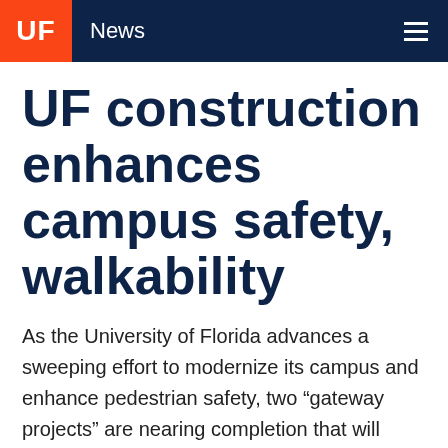UF News
UF construction enhances campus safety, walkability
As the University of Florida advances a sweeping effort to modernize its campus and enhance pedestrian safety, two “gateway projects” are nearing completion that will make the campus entrances more pedestrian friendly and ultimately create approximately 86 acres of